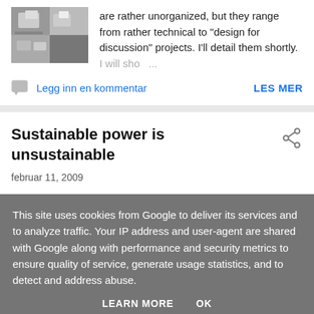are rather unorganized, but they range from rather technical to "design for discussion" projects. I'll detail them shortly. I will sho ...
Legg inn en kommentar
LES MER
Sustainable power is unsustainable
februar 11, 2009
This site uses cookies from Google to deliver its services and to analyze traffic. Your IP address and user-agent are shared with Google along with performance and security metrics to ensure quality of service, generate usage statistics, and to detect and address abuse.
LEARN MORE   OK